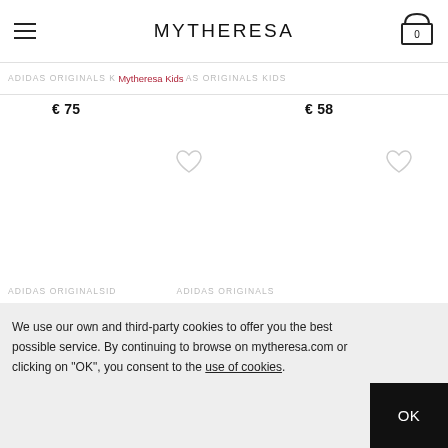MYTHERESA
ADIDAS ORIGINALS KIDS  Mytheresa Kids  ADIDAS ORIGINALS KIDS
€ 75    € 58
[Figure (screenshot): Two product image placeholders with heart/wishlist icons, white background]
We use our own and third-party cookies to offer you the best possible service. By continuing to browse on mytheresa.com or clicking on "OK", you consent to the use of cookies.